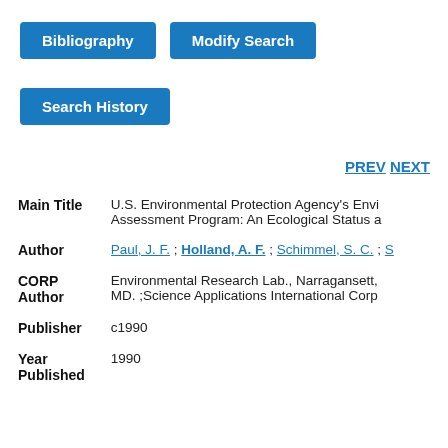[Figure (screenshot): Blue button labeled 'Bibliography']
[Figure (screenshot): Blue button labeled 'Modify Search']
[Figure (screenshot): Blue button labeled 'Search History']
PREV NEXT
| Main Title | U.S. Environmental Protection Agency's Environmental Monitoring and Assessment Program: An Ecological Status a |
| Author | Paul, J. F. ; Holland, A. F. ; Schimmel, S. C. ; S |
| CORP Author | Environmental Research Lab., Narragansett, MD. ;Science Applications International Corp |
| Publisher | c1990 |
| Year Published | 1990 |